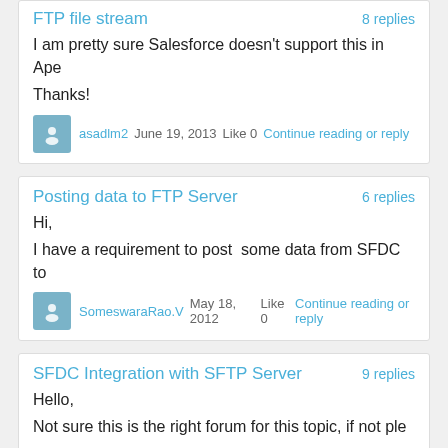FTP file stream
8 replies
I am pretty sure Salesforce doesn't support this in Ape
Thanks!
asadlm2   June 19, 2013   Like 0   Continue reading or reply
Posting data to FTP Server
6 replies
Hi,
I have a requirement to post  some data from SFDC to
SomeswaraRao.V   May 18, 2012   Like 0   Continue reading or reply
SFDC Integration with SFTP Server
9 replies
Hello,
Not sure this is the right forum for this topic, if not ple